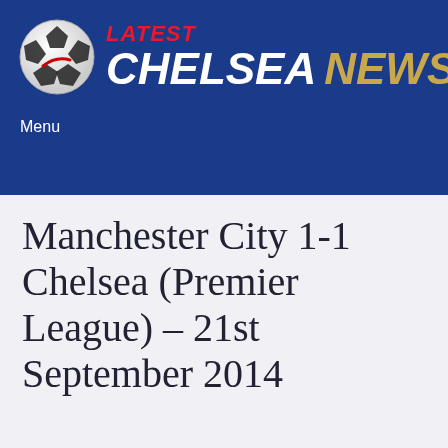[Figure (logo): Latest Chelsea News logo with soccer ball and stylized text on dark blue background]
Menu
Manchester City 1-1 Chelsea (Premier League) – 21st September 2014